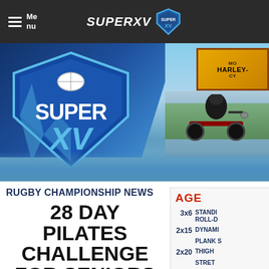Menu | SUPERXV
[Figure (screenshot): Super XV rugby championship hero banner with Super XV shield logo on left blue background, motorcycle rider photo in center, and partial Harley-Davidson logo on right]
RUGBY CHAMPIONSHIP NEWS
28 DAY PILATES CHALLENGE FOR SENIORS
[Figure (infographic): Sidebar workout agenda showing exercises: 3x6 STANDING ROLL-DOWN, 2x15 DYNAMIC..., PLANK S..., 2x20 THIGH, STRET...]